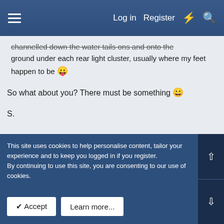Log in  Register
channelled down the water tails ons and onto the ground under each rear light cluster, usually where my feet happen to be 😛
So what about you? There must be something 😀
S.
This site uses cookies to help personalise content, tailor your experience and to keep you logged in if you register.
By continuing to use this site, you are consenting to our use of cookies.